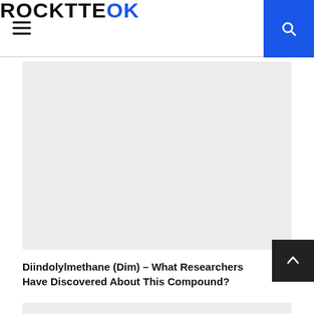ROCKTTEOK
[Figure (photo): Large image placeholder with light gray background, article hero image area]
Diindolylmethane (Dim) – What Researchers Have Discovered About This Compound?
[Figure (photo): Second image placeholder with light gray background at bottom of page]